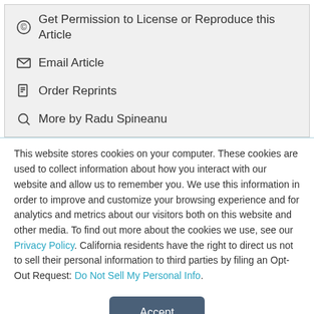© Get Permission to License or Reproduce this Article
✉ Email Article
Order Reprints
🔍 More by Radu Spineanu
This website stores cookies on your computer. These cookies are used to collect information about how you interact with our website and allow us to remember you. We use this information in order to improve and customize your browsing experience and for analytics and metrics about our visitors both on this website and other media. To find out more about the cookies we use, see our Privacy Policy. California residents have the right to direct us not to sell their personal information to third parties by filing an Opt-Out Request: Do Not Sell My Personal Info.